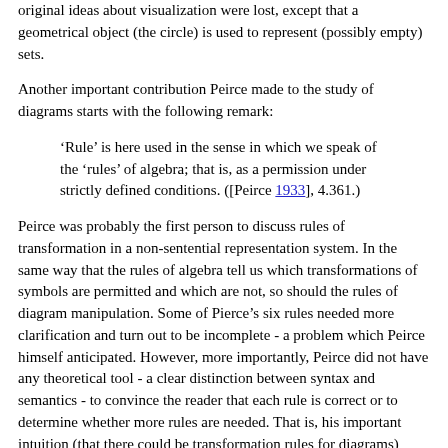original ideas about visualization were lost, except that a geometrical object (the circle) is used to represent (possibly empty) sets.
Another important contribution Peirce made to the study of diagrams starts with the following remark:
‘Rule’ is here used in the sense in which we speak of the ‘rules’ of algebra; that is, as a permission under strictly defined conditions. ([Peirce 1933], 4.361.)
Peirce was probably the first person to discuss rules of transformation in a non-sentential representation system. In the same way that the rules of algebra tell us which transformations of symbols are permitted and which are not, so should the rules of diagram manipulation. Some of Pierce’s six rules needed more clarification and turn out to be incomplete - a problem which Peirce himself anticipated. However, more importantly, Peirce did not have any theoretical tool - a clear distinction between syntax and semantics - to convince the reader that each rule is correct or to determine whether more rules are needed. That is, his important intuition (that there could be transformation rules for diagrams) remained to be justified.
2.4 Diagrams as formal system